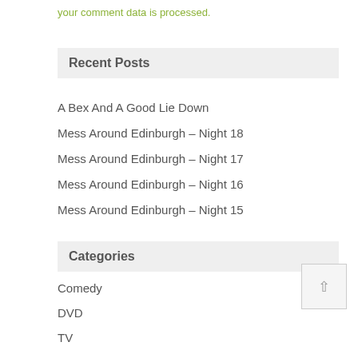your comment data is processed.
Recent Posts
A Bex And A Good Lie Down
Mess Around Edinburgh – Night 18
Mess Around Edinburgh – Night 17
Mess Around Edinburgh – Night 16
Mess Around Edinburgh – Night 15
Categories
Comedy
DVD
TV